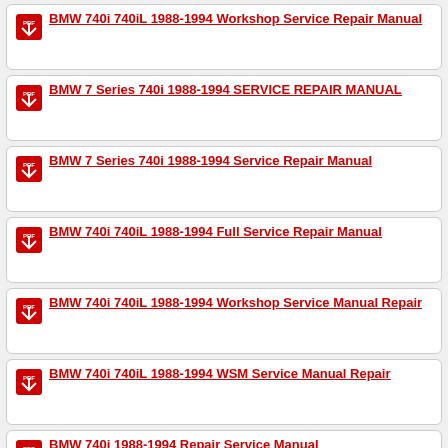BMW 740i 740iL 1988-1994 Workshop Service Repair Manual
BMW 7 Series 740i 1988-1994 SERVICE REPAIR MANUAL
BMW 7 Series 740i 1988-1994 Service Repair Manual
BMW 740i 740iL 1988-1994 Full Service Repair Manual
BMW 740i 740iL 1988-1994 Workshop Service Manual Repair
BMW 740i 740iL 1988-1994 WSM Service Manual Repair
BMW 740i 1988-1994 Repair Service Manual